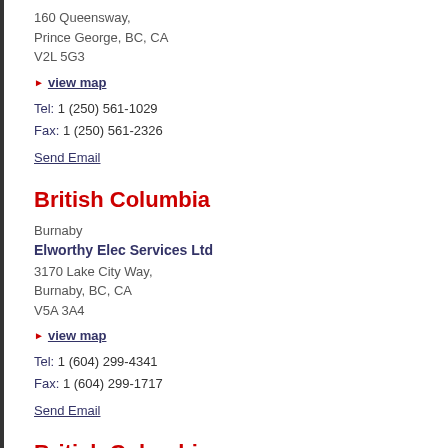160 Queensway,
Prince George, BC, CA
V2L 5G3
▶ view map
Tel: 1 (250) 561-1029
Fax: 1 (250) 561-2326
Send Email
British Columbia
Burnaby
Elworthy Elec Services Ltd
3170 Lake City Way,
Burnaby, BC, CA
V5A 3A4
▶ view map
Tel: 1 (604) 299-4341
Fax: 1 (604) 299-1717
Send Email
British Columbia